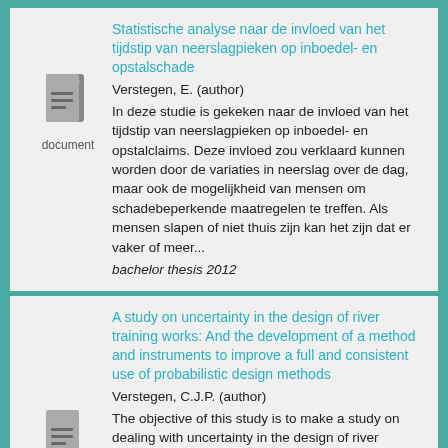Statistische analyse naar de invloed van het tijdstip van neerslagpieken op inboedel- en opstalschade
Verstegen, E. (author)
In deze studie is gekeken naar de invloed van het tijdstip van neerslagpieken op inboedel- en opstalclaims. Deze invloed zou verklaard kunnen worden door de variaties in neerslag over de dag, maar ook de mogelijkheid van mensen om schadebeperkende maatregelen te treffen. Als mensen slapen of niet thuis zijn kan het zijn dat er vaker of meer...
bachelor thesis 2012
[Figure (illustration): Document icon with lines, labeled 'document']
A study on uncertainty in the design of river training works: And the development of a method and instruments to improve a full and consistent use of probabilistic design methods
Verstegen, C.J.P. (author)
The objective of this study is to make a study on dealing with uncertainty in the design of river training works. Based on this study, a method and several instruments have been developed that aim to improve a full and consistent use of...
[Figure (illustration): Document icon with lines, labeled 'document']